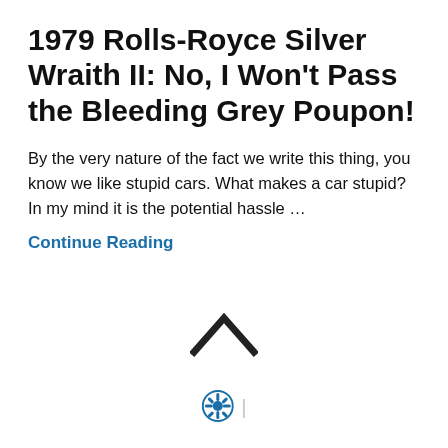1979 Rolls-Royce Silver Wraith II: No, I Won't Pass the Bleeding Grey Poupon!
By the very nature of the fact we write this thing, you know we like stupid cars. What makes a car stupid? In my mind it is the potential hassle …
Continue Reading
[Figure (other): Upward-pointing chevron symbol used as a scroll-to-top button]
[Figure (logo): WordPress logo circle icon followed by a vertical separator bar]